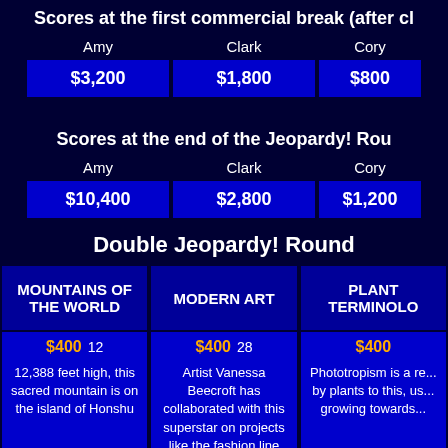Scores at the first commercial break (after cl...
| Amy | Clark | Cory |
| --- | --- | --- |
| $3,200 | $1,800 | $800 |
Scores at the end of the Jeopardy! Rou...
| Amy | Clark | Cory |
| --- | --- | --- |
| $10,400 | $2,800 | $1,200 |
Double Jeopardy! Round
| MOUNTAINS OF THE WORLD | MODERN ART | PLANT TERMINOLO... |
| --- | --- | --- |
| $400  12
12,388 feet high, this sacred mountain is on the island of Honshu | $400  28
Artist Vanessa Beecroft has collaborated with this superstar on projects like the fashion line Yeezy Season 2 | $400
Phototropism is a re... by plants to this, us... growing towards... |